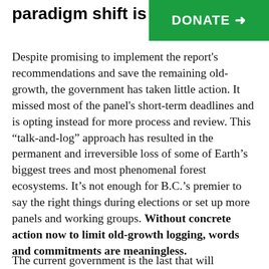paradigm shift is required
[Figure (other): Green donate button banner with arrow]
Despite promising to implement the report's recommendations and save the remaining old-growth, the government has taken little action. It missed most of the panel's short-term deadlines and is opting instead for more process and review. This “talk-and-log” approach has resulted in the permanent and irreversible loss of some of Earth’s biggest trees and most phenomenal forest ecosystems. It’s not enough for B.C.’s premier to say the right things during elections or set up more panels and working groups. Without concrete action now to limit old-growth logging, words and commitments are meaningless.
The current government is the last that will